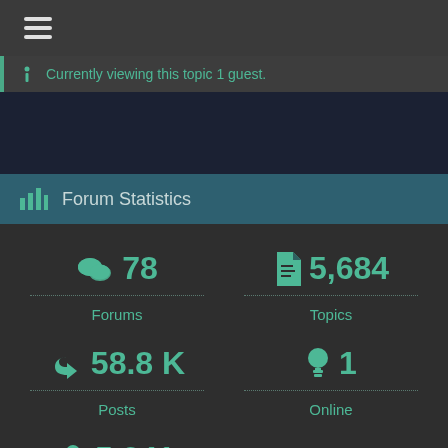[Figure (screenshot): Hamburger menu icon (three horizontal lines) in dark top bar]
Currently viewing this topic 1 guest.
Forum Statistics
78 Forums
5,684 Topics
58.8 K Posts
1 Online
5,341 Members
Latest Post: Everspace 2